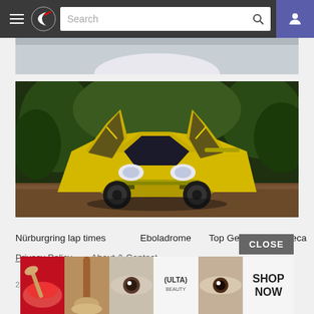Navigation bar with hamburger menu, logo, search bar, and user icon
[Figure (photo): Partial top image showing bottom of a car, gray/white background]
[Figure (photo): Yellow Lamborghini Diablo with scissor doors open, front view, parked on gravel with trees in background]
Nürburgring lap times
Eboladrome
Top Gear
Laguna Seca
Privacy Policy
About & Contact
23627 la... 3 cars and 229...
[Figure (photo): Ulta Beauty advertisement banner showing makeup brushes, eyes close-up photos, Ulta logo, and SHOP NOW button with CLOSE button]